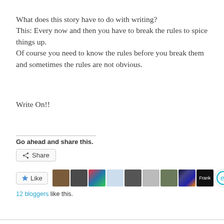What does this story have to do with writing? This: Every now and then you have to break the rules to spice things up. Of course you need to know the rules before you break them and sometimes the rules are not obvious.
Write On!!
Go ahead and share this.
[Figure (screenshot): Share button with share icon]
[Figure (screenshot): Like button with star icon and row of 10 blogger avatar thumbnails]
12 bloggers like this.